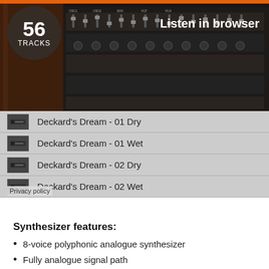[Figure (screenshot): Screenshot of a music sample browser showing a synthesizer image with '56 TRACKS' badge and 'Listen in browser' button]
Deckard's Dream - 01 Dry
Deckard's Dream - 01 Wet
Deckard's Dream - 02 Dry
Deckard's Dream - 02 Wet
Privacy policy
Synthesizer features:
8-voice polyphonic analogue synthesizer
Fully analogue signal path
2 synthesis layers per voice
256 presets